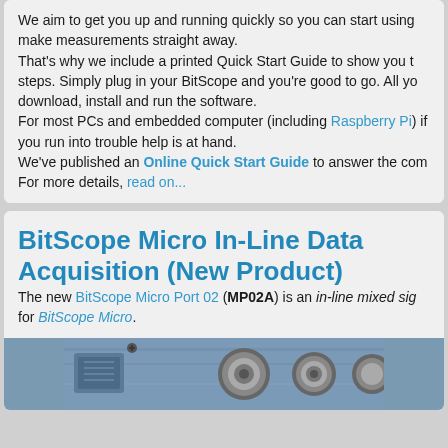We aim to get you up and running quickly so you can start using make measurements straight away.
That's why we include a printed Quick Start Guide to show you the steps. Simply plug in your BitScope and you're good to go. All yo download, install and run the software.
For most PCs and embedded computer (including Raspberry Pi) if you run into trouble help is at hand.
We've published an Online Quick Start Guide to answer the com For more details, read on...
BitScope Micro In-Line Data Acquisition (New Product)
The new BitScope Micro Port 02 (MP02A) is an in-line mixed sig for BitScope Micro.
[Figure (photo): Photo of BitScope Micro hardware showing BNC connectors on a blue/grey panel]